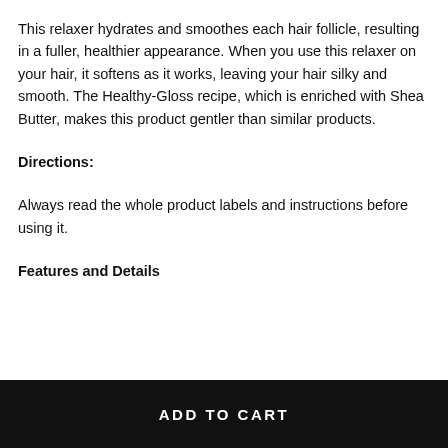This relaxer hydrates and smoothes each hair follicle, resulting in a fuller, healthier appearance. When you use this relaxer on your hair, it softens as it works, leaving your hair silky and smooth. The Healthy-Gloss recipe, which is enriched with Shea Butter, makes this product gentler than similar products.
Directions:
Always read the whole product labels and instructions before using it.
Features and Details
...